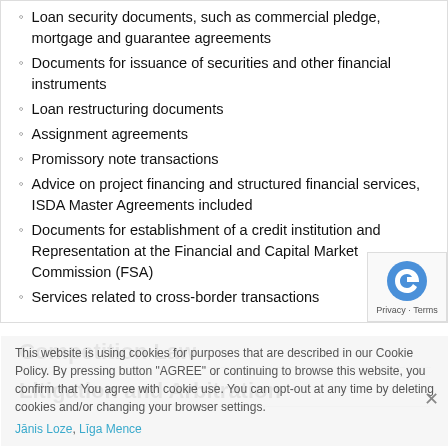Loan security documents, such as commercial pledge, mortgage and guarantee agreements
Documents for issuance of securities and other financial instruments
Loan restructuring documents
Assignment agreements
Promissory note transactions
Advice on project financing and structured financial services, ISDA Master Agreements included
Documents for establishment of a credit institution and Representation at the Financial and Capital Market Commission (FSA)
Services related to cross-border transactions
This website is using cookies for purposes that are described in our Cookie Policy. By pressing button "AGREE" or continuing to browse this website, you confirm that You agree with cookie use. You can opt-out at any time by deleting cookies and/or changing your browser settings.
Jānis Loze, Līga Mence
Competition Law
Litigation and Arbitration